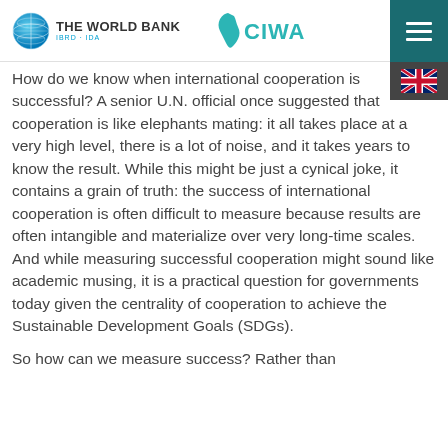THE WORLD BANK IBRD · IDA | CIWA
How do we know when international cooperation is successful? A senior U.N. official once suggested that cooperation is like elephants mating: it all takes place at a very high level, there is a lot of noise, and it takes years to know the result. While this might be just a cynical joke, it contains a grain of truth: the success of international cooperation is often difficult to measure because results are often intangible and materialize over very long-time scales. And while measuring successful cooperation might sound like academic musing, it is a practical question for governments today given the centrality of cooperation to achieve the Sustainable Development Goals (SDGs).
So how can we measure success? Rather than